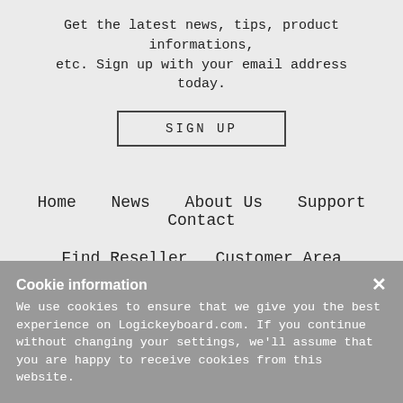Get the latest news, tips, product informations, etc. Sign up with your email address today.
SIGN UP
Home   News   About Us   Support   Contact
Find Reseller   Customer Area   Become a Reseller   Reseller Login
Cookie information
We use cookies to ensure that we give you the best experience on Logickeyboard.com. If you continue without changing your settings, we'll assume that you are happy to receive cookies from this website.